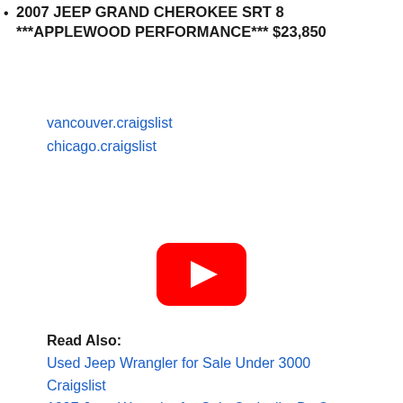2007 JEEP GRAND CHEROKEE SRT 8 ***APPLEWOOD PERFORMANCE*** $23,850
vancouver.craigslist
chicago.craigslist
[Figure (other): YouTube play button icon (red rounded rectangle with white triangle play arrow)]
Read Also:
Used Jeep Wrangler for Sale Under 3000 Craigslist
1997 Jeep Wrangler for Sale Craigslist By Owner